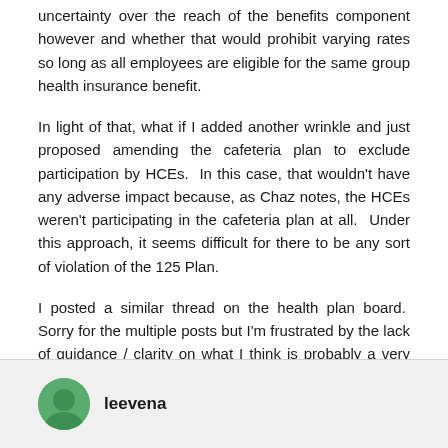uncertainty over the reach of the benefits component however and whether that would prohibit varying rates so long as all employees are eligible for the same group health insurance benefit.
In light of that, what if I added another wrinkle and just proposed amending the cafeteria plan to exclude participation by HCEs. In this case, that wouldn't have any adverse impact because, as Chaz notes, the HCEs weren't participating in the cafeteria plan at all. Under this approach, it seems difficult for there to be any sort of violation of the 125 Plan.
I posted a similar thread on the health plan board. Sorry for the multiple posts but I'm frustrated by the lack of guidance / clarity on what I think is probably a very common practice among many small employers where top folks have all their premiums covered and others do not.
leevena